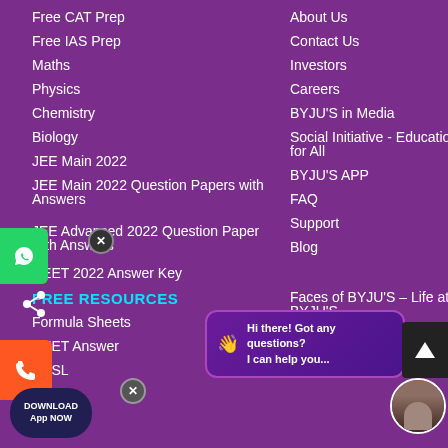Free CAT Prep
Free IAS Prep
Maths
Physics
Chemistry
Biology
JEE Main 2022
JEE Main 2022 Question Papers with Answers
JEE Advanced 2022 Question Paper with Answers
NEET 2022 Answer Key
FREE RESOURCES
Formula Sheets
NEET Answer
DSSL
About Us
Contact Us
Investors
Careers
BYJU'S in Media
Social Initiative - Education for All
BYJU'S APP
FAQ
Support
Blog
Faces of BYJU'S – Life at BYJU'S
BYJU'S Give